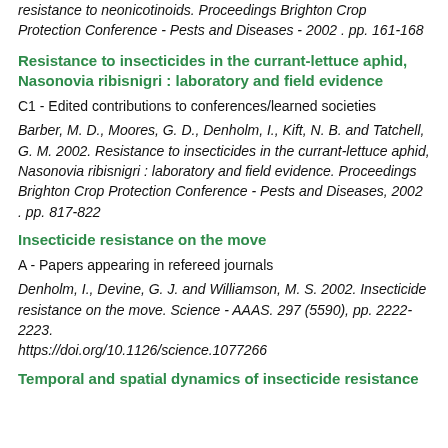resistance to neonicotinoids. Proceedings Brighton Crop Protection Conference - Pests and Diseases - 2002 . pp. 161-168
Resistance to insecticides in the currant-lettuce aphid, Nasonovia ribisnigri : laboratory and field evidence
C1 - Edited contributions to conferences/learned societies
Barber, M. D., Moores, G. D., Denholm, I., Kift, N. B. and Tatchell, G. M. 2002. Resistance to insecticides in the currant-lettuce aphid, Nasonovia ribisnigri : laboratory and field evidence. Proceedings Brighton Crop Protection Conference - Pests and Diseases, 2002 . pp. 817-822
Insecticide resistance on the move
A - Papers appearing in refereed journals
Denholm, I., Devine, G. J. and Williamson, M. S. 2002. Insecticide resistance on the move. Science - AAAS. 297 (5590), pp. 2222-2223. https://doi.org/10.1126/science.1077266
Temporal and spatial dynamics of insecticide resistance